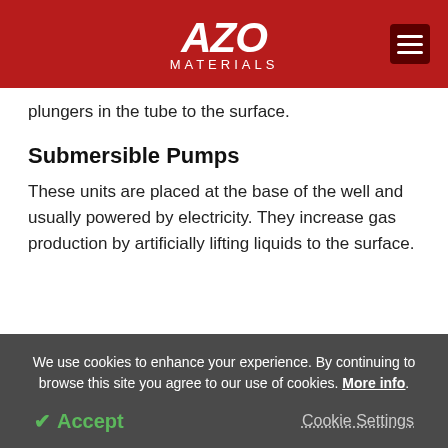AZO MATERIALS
plungers in the tube to the surface.
Submersible Pumps
These units are placed at the base of the well and usually powered by electricity. They increase gas production by artificially lifting liquids to the surface.
| On/Off | ABB RTU | INPUTS |
| --- | --- | --- |
We use cookies to enhance your experience. By continuing to browse this site you agree to our use of cookies. More info.
Accept   Cookie Settings